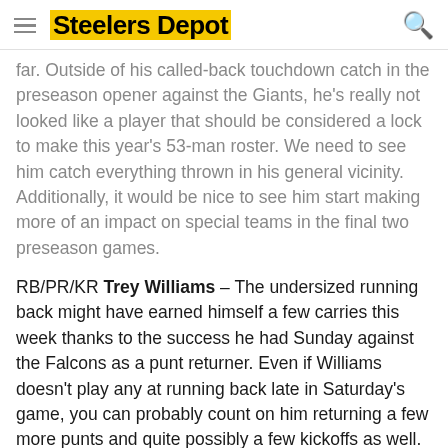Steelers Depot
far. Outside of his called-back touchdown catch in the preseason opener against the Giants, he's really not looked like a player that should be considered a lock to make this year's 53-man roster. We need to see him catch everything thrown in his general vicinity. Additionally, it would be nice to see him start making more of an impact on special teams in the final two preseason games.
RB/PR/KR Trey Williams – The undersized running back might have earned himself a few carries this week thanks to the success he had Sunday against the Falcons as a punt returner. Even if Williams doesn't play any at running back late in Saturday's game, you can probably count on him returning a few more punts and quite possibly a few kickoffs as well.
TE Jake McGee – Really, how can you not want to see more